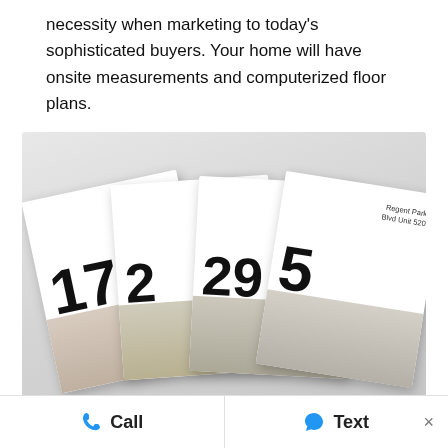necessity when marketing to today's sophisticated buyers. Your home will have onsite measurements and computerized floor plans.
[Figure (photo): Four overlapping real estate floor plan brochures fanned out on a gray surface, each showing a large address number (170, 2, 29, 5), a property address (Sumach St Unit 1812; Crocus Dr Scarborough; King St W Unit 841; Regent Park Blvd Unit 520), and an interior photo of the listed property.]
Call   Text   ×